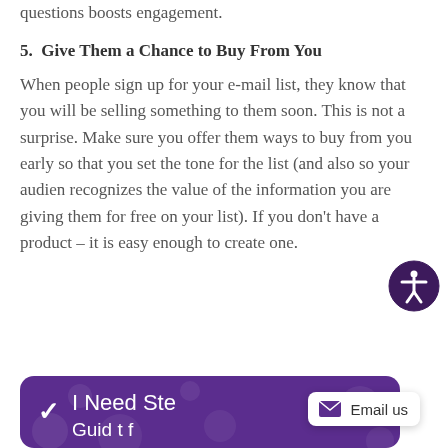questions boosts engagement.
5.  Give Them a Chance to Buy From You
When people sign up for your e-mail list, they know that you will be selling something to them soon. This is not a surprise. Make sure you offer them ways to buy from you early so that you set the tone for the list (and also so your audience recognizes the value of the information you are giving them for free on your list). If you don't have a product – it is easy enough to create one.
[Figure (other): Purple banner with white text reading 'I Need Ste...' (truncated) and an Email us chat badge overlay]